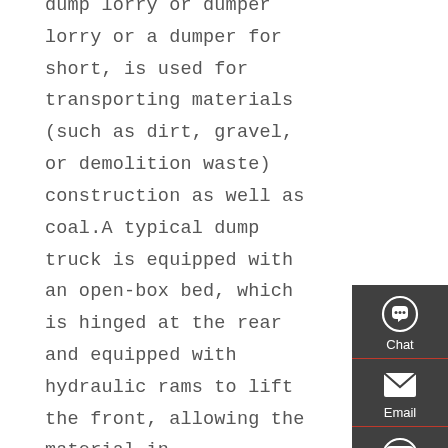dump lorry or dumper lorry or a dumper for short, is used for transporting materials (such as dirt, gravel, or demolition waste) construction as well as coal.A typical dump truck is equipped with an open-box bed, which is hinged at the rear and equipped with hydraulic rams to lift the front, allowing the material in
[Figure (infographic): Sidebar widget with dark gray background showing Chat, Email, Contact, and Top navigation icons in white on dark gray panels separated by red lines.]